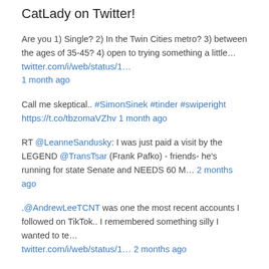CatLady on Twitter!
Are you 1) Single? 2) In the Twin Cities metro? 3) between the ages of 35-45? 4) open to trying something a little… twitter.com/i/web/status/1… 1 month ago
Call me skeptical.. #SimonSinek #tinder #swiperight https://t.co/tbzomaVZhv 1 month ago
RT @LeanneSandusky: I was just paid a visit by the LEGEND @TransTsar (Frank Pafko) - friends- he's running for state Senate and NEEDS 60 M… 2 months ago
.@AndrewLeeTCNT was one the most recent accounts I followed on TikTok.. I remembered something silly I wanted to te… twitter.com/i/web/status/1… 2 months ago
My heart is broken today. https://t.co/p1pQiymmDk 2 months ago
CatLady's Latest Instagram Pic